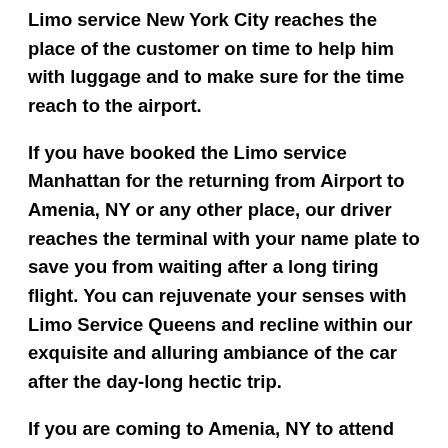Limo service New York City reaches the place of the customer on time to help him with luggage and to make sure for the time reach to the airport.
If you have booked the Limo service Manhattan for the returning from Airport to Amenia, NY or any other place, our driver reaches the terminal with your name plate to save you from waiting after a long tiring flight. You can rejuvenate your senses with Limo Service Queens and recline within our exquisite and alluring ambiance of the car after the day-long hectic trip.
If you are coming to Amenia, NY to attend the corporate meetings, conference, exhibition or business transactions, we at Limo service Bronx